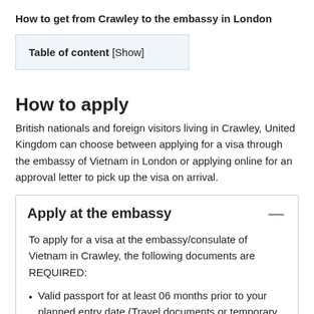How to get from Crawley to the embassy in London
Table of content [Show]
How to apply
British nationals and foreign visitors living in Crawley, United Kingdom can choose between applying for a visa through the embassy of Vietnam in London or applying online for an approval letter to pick up the visa on arrival.
Apply at the embassy
To apply for a visa at the embassy/consulate of Vietnam in Crawley, the following documents are REQUIRED:
Valid passport for at least 06 months prior to your planned entry date (Travel documents or temporary passports may not be accepted)